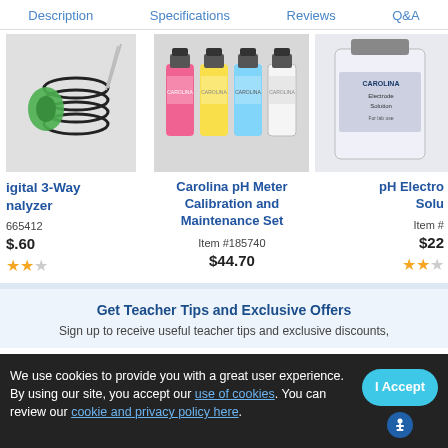Description | Specifications | Reviews | Q&A
[Figure (photo): Partial image of a digital 3-way analyzer with black coiled cable and green clip]
igital 3-Way nalyzer
665412
$.60
[Figure (photo): Carolina pH Meter Calibration and Maintenance Set - 4 bottles with pink, yellow, light blue, and white solutions]
Carolina pH Meter Calibration and Maintenance Set
Item #185740
$44.70
[Figure (photo): Partial image of pH Electrode Solution bottle]
pH Electro Solu
Item #
$22
Get Teacher Tips and Exclusive Offers
Sign up to receive useful teacher tips and exclusive discounts,
We use cookies to provide you with a great user experience. By using our site, you accept our use of cookies. You can review our cookie and privacy policy here.